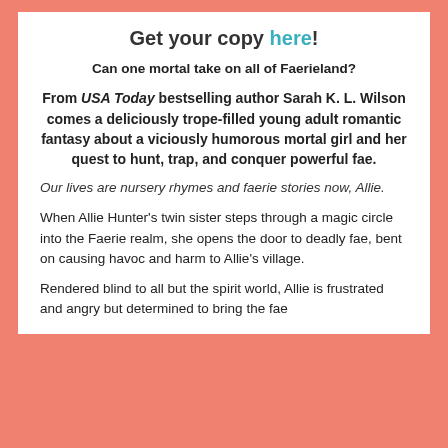Get your copy here!
Can one mortal take on all of Faerieland?
From USA Today bestselling author Sarah K. L. Wilson comes a deliciously trope-filled young adult romantic fantasy about a viciously humorous mortal girl and her quest to hunt, trap, and conquer powerful fae.
Our lives are nursery rhymes and faerie stories now, Allie.
When Allie Hunter's twin sister steps through a magic circle into the Faerie realm, she opens the door to deadly fae, bent on causing havoc and harm to Allie's village.
Rendered blind to all but the spirit world, Allie is frustrated and angry but determined to bring the fae